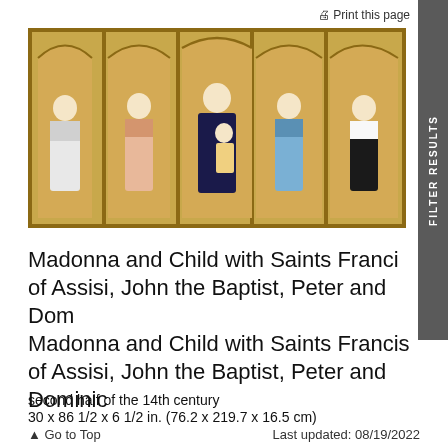Print this page
[Figure (photo): A five-panel polyptych altarpiece showing the Madonna and Child in the center panel flanked by Saints Francis of Assisi, John the Baptist, Peter, and Dominic in Gothic arched frames with gold backgrounds]
Madonna and Child with Saints Francis of Assisi, John the Baptist, Peter and Dom
Madonna and Child with Saints Francis of Assisi, John the Baptist, Peter and Dominic
second half of the 14th century
30 x 86 1/2 x 6 1/2 in. (76.2 x 219.7 x 16.5 cm)
Go to Top    Last updated: 08/19/2022